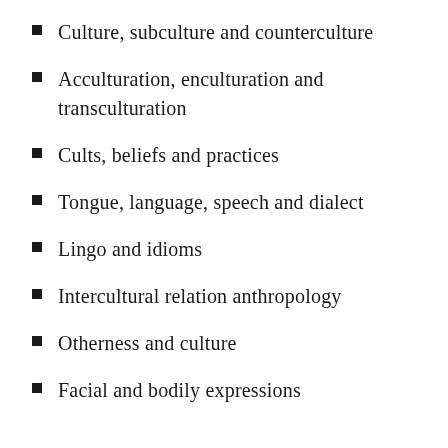Culture, subculture and counterculture
Acculturation, enculturation and transculturation
Cults, beliefs and practices
Tongue, language, speech and dialect
Lingo and idioms
Intercultural relation anthropology
Otherness and culture
Facial and bodily expressions